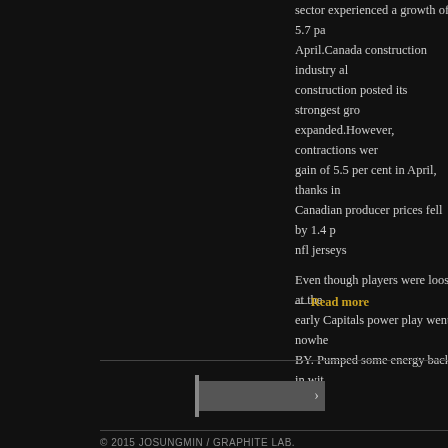sector experienced a growth of 5.7 pa April.Canada construction industry al construction posted its strongest gro expanded.However, contractions wer gain of 5.5 per cent in April, thanks in Canadian producer prices fell by 1.4 p nfl jerseys
Even though players were loose at the early Capitals power play went nowhe BY. Pumped some energy back in wit
— Read more
© 2015 JOSUNGMIN / GRAPHITE LAB.